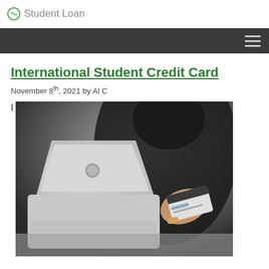Student Loan
International Student Credit Card
November 8th, 2021 by Al C
[Figure (photo): Person in dark clothing holding a credit card while using a MacBook laptop, shot in dark moody tones with shallow depth of field]